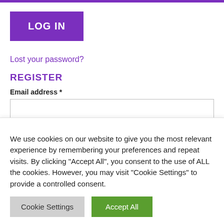[Figure (screenshot): Purple top navigation bar]
LOG IN
Lost your password?
REGISTER
Email address *
Password *
We use cookies on our website to give you the most relevant experience by remembering your preferences and repeat visits. By clicking "Accept All", you consent to the use of ALL the cookies. However, you may visit "Cookie Settings" to provide a controlled consent.
Cookie Settings
Accept All